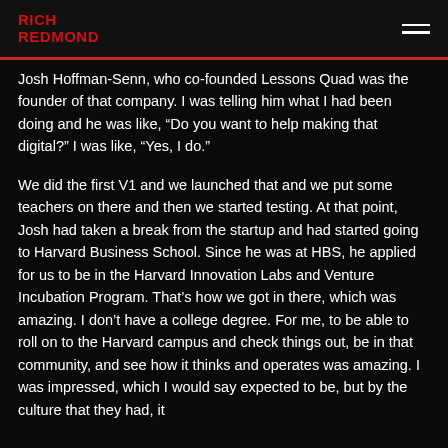RICH REDMOND
Josh Hoffman-Senn, who co-founded Lessons Quad was the founder of that company. I was telling him what I had been doing and he was like, “Do you want to help making that digital?” I was like, “Yes, I do.”
We did the first V1 and we launched that and we put some teachers on there and then we started testing. At that point, Josh had taken a break from the startup and had started going to Harvard Business School. Since he was at HBS, he applied for us to be in the Harvard Innovation Labs and Venture Incubation Program. That’s how we got in there, which was amazing. I don’t have a college degree. For me, to be able to roll on to the Harvard campus and check things out, be in that community, and see how it thinks and operates was amazing. I was impressed, which I would say expected to be, but by the culture that they had, it